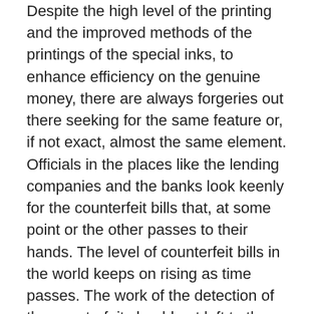Despite the high level of the printing and the improved methods of the printings of the special inks, to enhance efficiency on the genuine money, there are always forgeries out there seeking for the same feature or, if not exact, almost the same element. Officials in the places like the lending companies and the banks look keenly for the counterfeit bills that, at some point or the other passes to their hands. The level of counterfeit bills in the world keeps on rising as time passes. The work of the detection of the counterfeit should not left to the officials only. The role is supposed to adhere to by every person. If you think that the bill you are not receiving follows the following steps